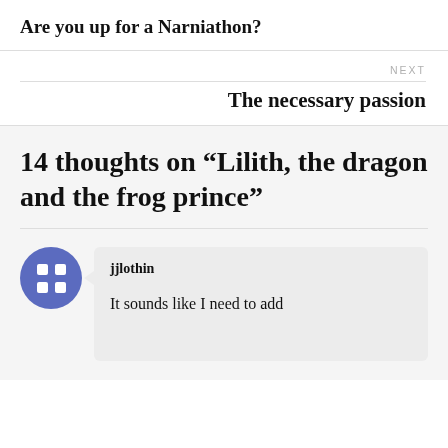Are you up for a Narniathon?
NEXT
The necessary passion
14 thoughts on “Lilith, the dragon and the frog prince”
jjlothin
It sounds like I need to add